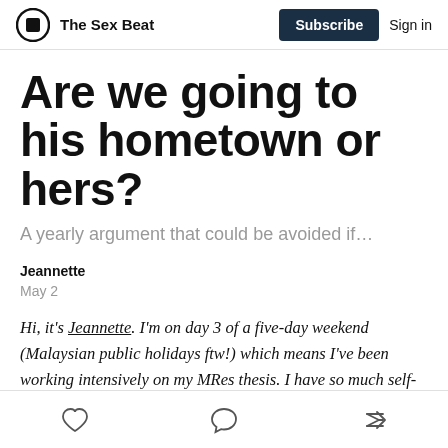The Sex Beat | Subscribe | Sign in
Are we going to his hometown or hers?
A yearly argument that could be avoided if…
Jeannette
May 2
Hi, it's Jeannette. I'm on day 3 of a five-day weekend (Malaysian public holidays ftw!) which means I've been working intensively on my MRes thesis. I have so much self-